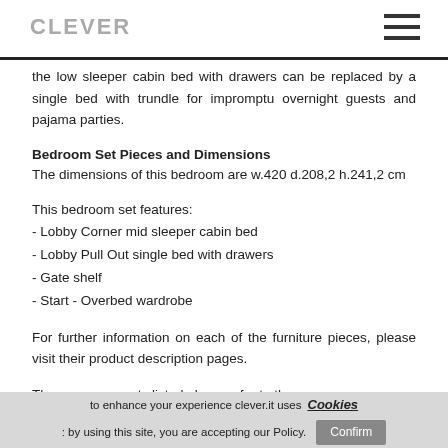CLEVER
the low sleeper cabin bed with drawers can be replaced by a single bed with trundle for impromptu overnight guests and pajama parties.
Bedroom Set Pieces and Dimensions
The dimensions of this bedroom are w.420 d.208,2 h.241,2 cm
This bedroom set features:
- Lobby Corner mid sleeper cabin bed
- Lobby Pull Out single bed with drawers
- Gate shelf
- Start - Overbed wardrobe
For further information on each of the furniture pieces, please visit their product description pages.
The measurements listed above refer to the
to enhance your experience clever.it uses Cookies: by using this site, you are accepting our Policy. Confirm